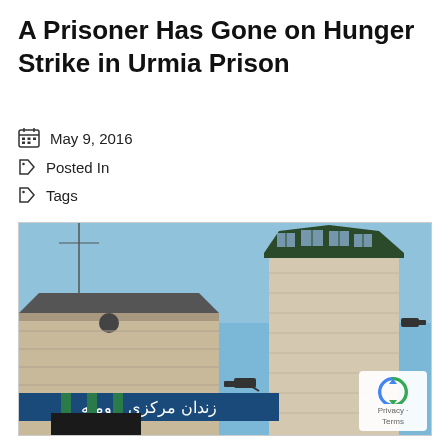A Prisoner Has Gone on Hunger Strike in Urmia Prison
May 9, 2016
Posted In
Tags
[Figure (photo): Exterior view of Urmia Central Prison building with guard tower. Sign in Persian reads 'زندان مرکزی ارومیه' (Urmia Central Prison). Blue sky background, beige brick tower, green columns at entrance.]